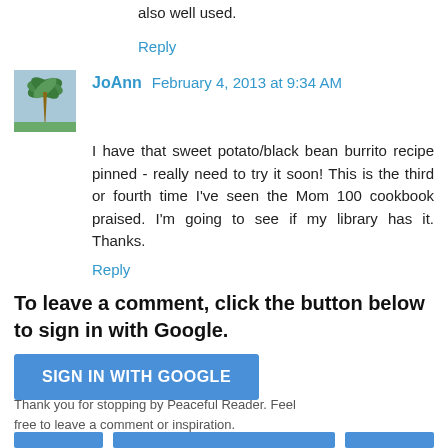also well used.
Reply
JoAnn  February 4, 2013 at 9:34 AM
I have that sweet potato/black bean burrito recipe pinned - really need to try it soon! This is the third or fourth time I've seen the Mom 100 cookbook praised. I'm going to see if my library has it. Thanks.
Reply
To leave a comment, click the button below to sign in with Google.
SIGN IN WITH GOOGLE
Thank you for stopping by Peaceful Reader. Feel free to leave a comment or inspiration.